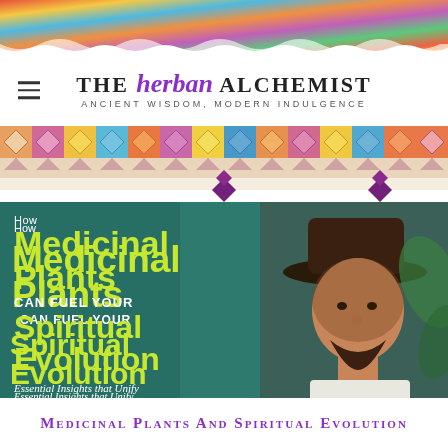[Figure (photo): Colorful woven textile photo strip at the top of the page with vibrant reds, yellows, blues, and purples]
THE herban ALCHEMIST — ANCIENT WISDOM, MODERN INDULGENCE
[Figure (illustration): Decorative geometric border/banner with diamond and triangle patterns in orange, pink, purple, and teal on a light background, with hanging purple diamond pendants]
[Figure (photo): Banner image on teal/green background showing text 'How Medicinal Plants Can Fuel Your Spiritual Evolution — Essential Insights that Unify Natural Medicine, Ecology & Spirituality' on the left, with a portrait photo of a man wearing a wide-brim hat on the right]
Medicinal Plants and Spiritual Evolution